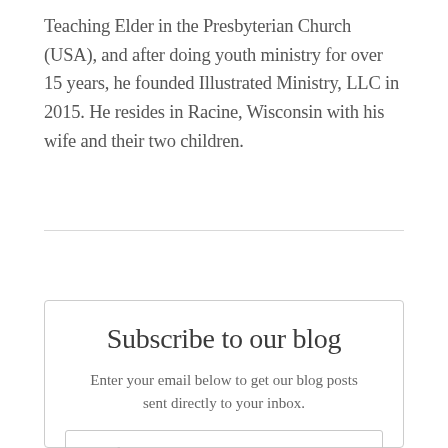Teaching Elder in the Presbyterian Church (USA), and after doing youth ministry for over 15 years, he founded Illustrated Ministry, LLC in 2015. He resides in Racine, Wisconsin with his wife and their two children.
Subscribe to our blog
Enter your email below to get our blog posts sent directly to your inbox.
Email